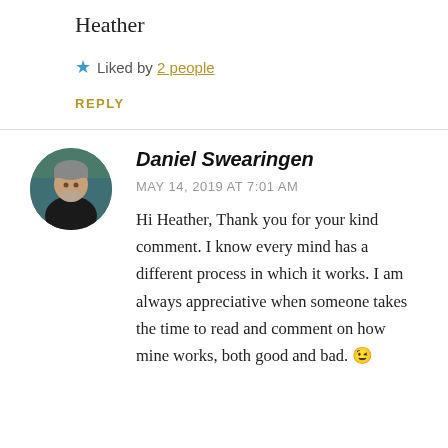Heather
Liked by 2 people
REPLY
Daniel Swearingen
MAY 14, 2019 AT 7:01 AM
Hi Heather, Thank you for your kind comment. I know every mind has a different process in which it works. I am always appreciative when someone takes the time to read and comment on how mine works, both good and bad. 😉